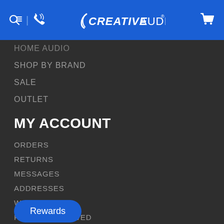Creative Audio header with search, phone, logo, and cart icons
HOME AUDIO
SHOP BY BRAND
SALE
OUTLET
MY ACCOUNT
ORDERS
RETURNS
MESSAGES
ADDRESSES
WISH LISTS
RECENTLY VIEWED
ACCOUNT SETTINGS
Rewards